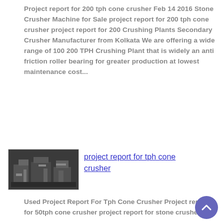Project report for 200 tph cone crusher Feb 14 2016 Stone Crusher Machine for Sale project report for 200 tph cone crusher project report for 200 Crushing Plants Secondary Crusher Manufacturer from Kolkata We are offering a wide range of 100 200 TPH Crushing Plant that is widely an anti friction roller bearing for greater production at lowest maintenance cost...
[Figure (photo): Thumbnail photo of a stone crusher machine installation]
project report for tph cone crusher
Used Project Report For Tph Cone Crusher Project report for 50tph cone crusher project report for stone crusher